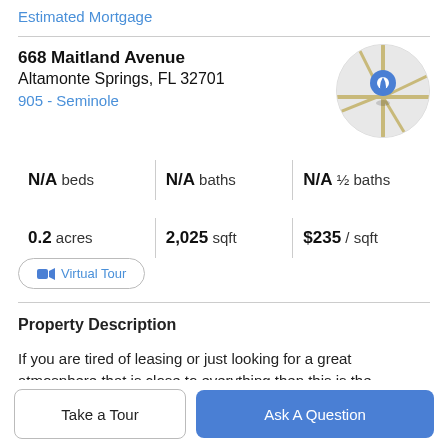Estimated Mortgage
668 Maitland Avenue
Altamonte Springs, FL 32701
905 - Seminole
[Figure (map): Circular cropped map with street lines and blue location pin marker]
N/A beds   N/A baths   N/A ½ baths
0.2 acres   2,025 sqft   $235 / sqft
Virtual Tour
Property Description
If you are tired of leasing or just looking for a great atmosphere that is close to everything then this is the
Take a Tour
Ask A Question